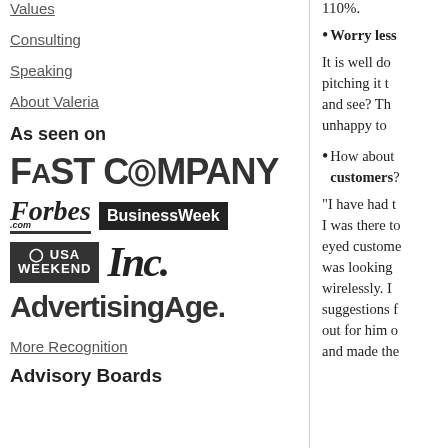Values
Consulting
Speaking
About Valeria
As seen on
[Figure (logo): Fast Company logo]
[Figure (logo): Forbes.com logo]
[Figure (logo): BusinessWeek logo]
[Figure (logo): USA Weekend logo]
[Figure (logo): Inc. logo]
[Figure (logo): Advertising Age logo]
More Recognition
Advisory Boards
110%.
Worry less
It is well do... pitching it t... and see? Th... unhappy to...
How about customers?
"I have had t... I was there to... eyed custome... was looking ... wirelessly. I ... suggestions f... out for him o... and made the...